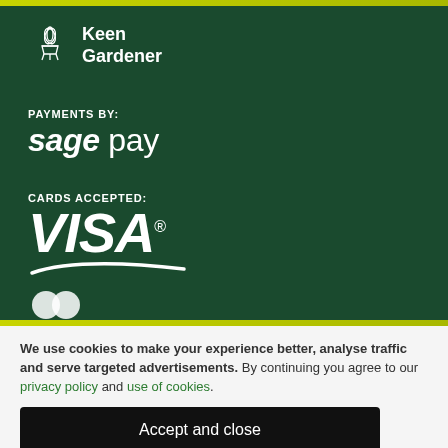[Figure (logo): Keen Gardener logo with plant pot icon and text]
PAYMENTS BY:
sage pay
CARDS ACCEPTED:
[Figure (logo): VISA logo with swoosh]
We use cookies to make your experience better, analyse traffic and serve targeted advertisements. By continuing you agree to our privacy policy and use of cookies.
Accept and close